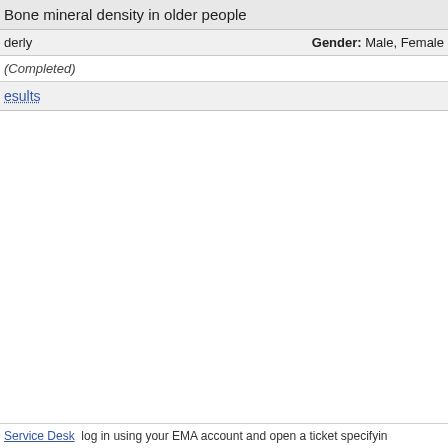Bone mineral density in older people
derly   Gender: Male, Female
(Completed)
esults
Service Desk  log in using your EMA account and open a ticket specifyin